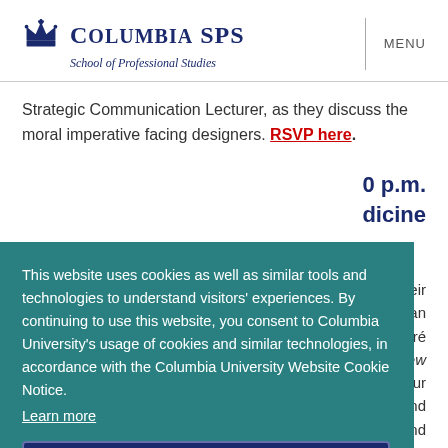COLUMBIA SPS School of Professional Studies
Strategic Communication Lecturer, as they discuss the moral imperative facing designers. RSVP here.
0 p.m. dicine
This website uses cookies as well as similar tools and technologies to understand visitors' experiences. By continuing to use this website, you consent to Columbia University's usage of cookies and similar technologies, in accordance with the Columbia University Website Cookie Notice. Learn more
OK
or their erican ndré is the New Your pt and Papers and Alibis. Aciman will discuss his latest collection of